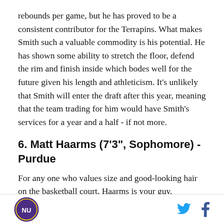rebounds per game, but he has proved to be a consistent contributor for the Terrapins. What makes Smith such a valuable commodity is his potential. He has shown some ability to stretch the floor, defend the rim and finish inside which bodes well for the future given his length and athleticism. It's unlikely that Smith will enter the draft after this year, meaning that the team trading for him would have Smith's services for a year and a half - if not more.
6. Matt Haarms (7'3", Sophomore) - Purdue
For any one who values size and good-looking hair on the basketball court, Haarms is your guy. Following in the footsteps of A.J. Hammons and Isaac Haas,
NU logo | Twitter | Facebook